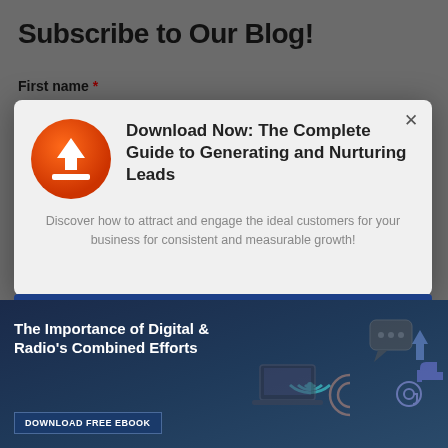Subscribe to Our Blog!
First name *
[Figure (screenshot): Modal popup dialog with orange download icon, heading 'Download Now: The Complete Guide to Generating and Nurturing Leads', descriptive text, and a blue CTA button. Background shows a blog subscription form and a dark blue banner promoting 'The Importance of Digital & Radio's Combined Efforts' ebook.]
Download Now: The Complete Guide to Generating and Nurturing Leads
Discover how to attract and engage the ideal customers for your business for consistent and measurable growth!
Download Your Free Guide
The Importance of Digital & Radio's Combined Efforts
DOWNLOAD FREE EBOOK